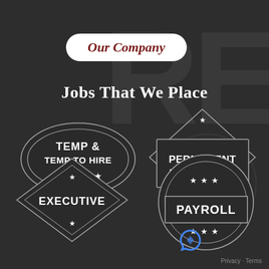[Figure (infographic): Dark background with large faded watermark letters RE and a circular seal watermark, representing a company branding background]
Our Company
Jobs That We Place
[Figure (infographic): Oval badge with double border outline containing text TEMP & TEMP TO HIRE with five stars below]
[Figure (infographic): Diamond shape with rectangle inside containing text PERMANENT PLACEMENT, star above and below the diamond]
[Figure (infographic): Diamond shape badge with star above and below containing text EXECUTIVE]
[Figure (infographic): Circle badge with rectangle band inside containing text PAYROLL, three stars above and three stars below the band]
Privacy · Terms